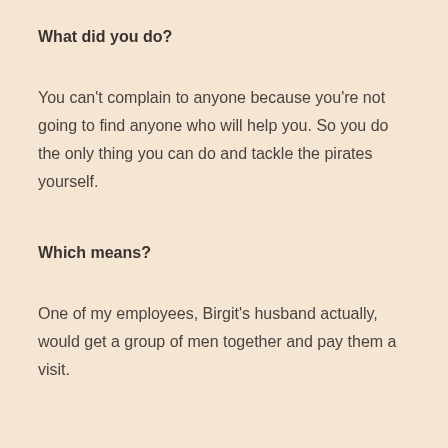What did you do?
You can't complain to anyone because you're not going to find anyone who will help you. So you do the only thing you can do and tackle the pirates yourself.
Which means?
One of my employees, Birgit's husband actually, would get a group of men together and pay them a visit.